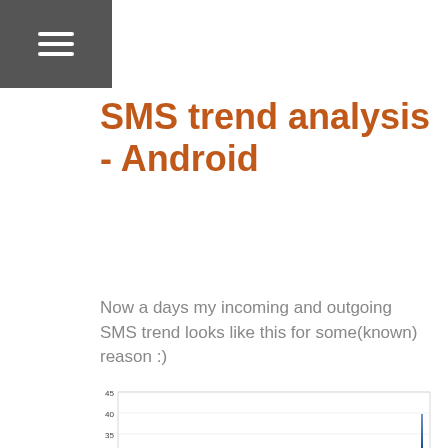SMS trend analysis - Android
Now a days my incoming and outgoing SMS trend looks like this for some(known) reason :)
[Figure (continuous-plot): Line chart showing incoming SMS trend from Nov 2012 to Apr 2013. Y-axis labeled 'number of sms', X-axis labeled 'days'. Values mostly near 0 with spikes up to ~21 in the middle and a large spike to ~42 at the far right.]
Incoming SMS trend(Nov 2012 - Apr 2013)
[Figure (continuous-plot): Partial line chart visible at the bottom of the page, appears to be another SMS trend chart. Y-axis shows value of 35 visible.]